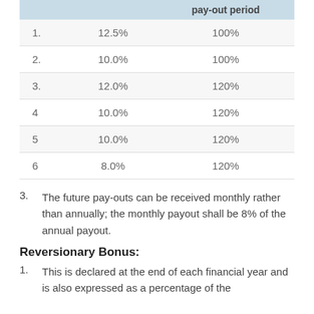|  |  | pay-out period |
| --- | --- | --- |
| 1. | 12.5% | 100% |
| 2. | 10.0% | 100% |
| 3. | 12.0% | 120% |
| 4 | 10.0% | 120% |
| 5 | 10.0% | 120% |
| 6 | 8.0% | 120% |
3. The future pay-outs can be received monthly rather than annually; the monthly payout shall be 8% of the annual payout.
Reversionary Bonus:
1. This is declared at the end of each financial year and is also expressed as a percentage of the